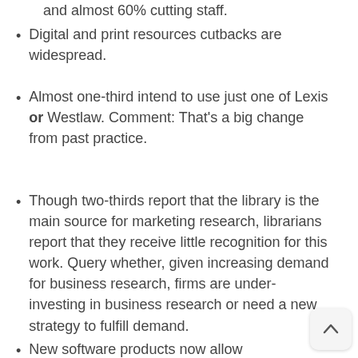and almost 60% cutting staff.
Digital and print resources cutbacks are widespread.
Almost one-third intend to use just one of Lexis or Westlaw. Comment: That’s a big change from past practice.
Though two-thirds report that the library is the main source for marketing research, librarians report that they receive little recognition for this work. Query whether, given increasing demand for business research, firms are under-investing in business research or need a new strategy to fulfill demand.
New software products now allow